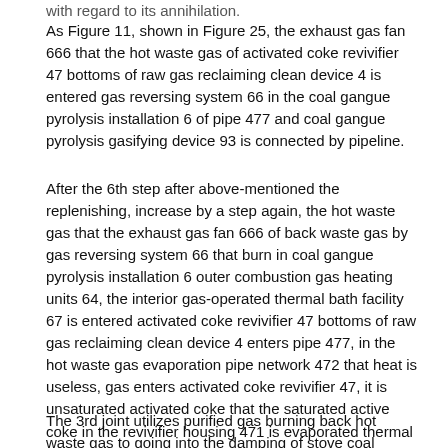with regard to its annihilation.
As Figure 11, shown in Figure 25, the exhaust gas fan 666 that the hot waste gas of activated coke revivifier 47 bottoms of raw gas reclaiming clean device 4 is entered gas reversing system 66 in the coal gangue pyrolysis installation 6 of pipe 477 and coal gangue pyrolysis gasifying device 93 is connected by pipeline.
After the 6th step after above-mentioned the replenishing, increase by a step again, the hot waste gas that the exhaust gas fan 666 of back waste gas by gas reversing system 66 that burn in coal gangue pyrolysis installation 6 outer combustion gas heating units 64, the interior gas-operated thermal bath facility 67 is entered activated coke revivifier 47 bottoms of raw gas reclaiming clean device 4 enters pipe 477, in the hot waste gas evaporation pipe network 472 that heat is useless, gas enters activated coke revivifier 47, it is unsaturated activated coke that the saturated active coke in the revivifier housing 471 is evaporated thermal regeneration.
The 3rd joint utilizes purified gas burning back hot waste gas to going into the damping of stove coal gangue pellet